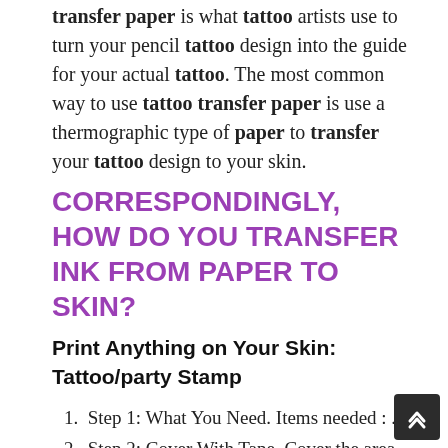transfer paper is what tattoo artists use to turn your pencil tattoo design into the guide for your actual tattoo. The most common way to use tattoo transfer paper is use a thermographic type of paper to transfer your tattoo design to your skin.
CORRESPONDINGLY, HOW DO YOU TRANSFER INK FROM PAPER TO SKIN?
Print Anything on Your Skin: Tattoo/party Stamp
Step 1: What You Need. Items needed : ...
Step 2: Cover With Tape. Cover the area yo